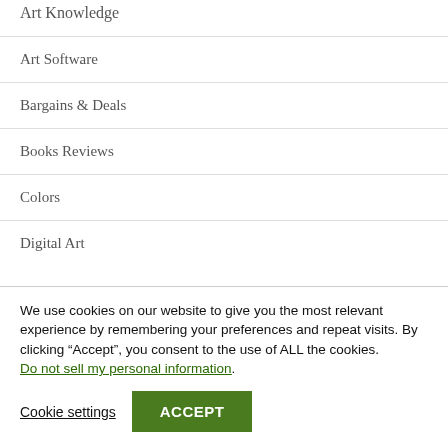Art Knowledge
Art Software
Bargains & Deals
Books Reviews
Colors
Digital Art
We use cookies on our website to give you the most relevant experience by remembering your preferences and repeat visits. By clicking “Accept”, you consent to the use of ALL the cookies. Do not sell my personal information.
Cookie settings  ACCEPT